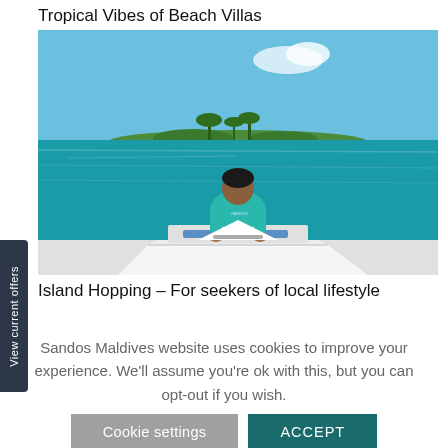Tropical Vibes of Beach Villas
[Figure (photo): Man in turquoise shirt sitting at the bow of a white speedboat, looking toward a small tropical island in turquoise waters under blue sky]
Island Hopping – For seekers of local lifestyle
Sandos Maldives website uses cookies to improve your experience. We'll assume you're ok with this, but you can opt-out if you wish.
Cookie settings
ACCEPT